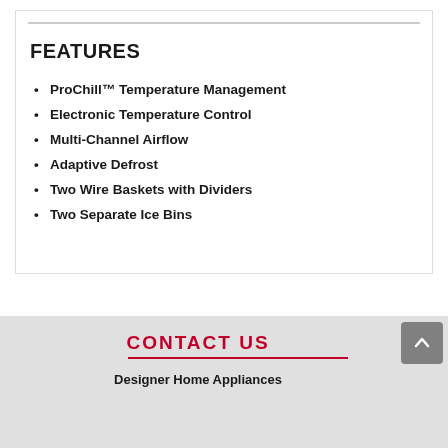FEATURES
ProChill™ Temperature Management
Electronic Temperature Control
Multi-Channel Airflow
Adaptive Defrost
Two Wire Baskets with Dividers
Two Separate Ice Bins
CONTACT US
Designer Home Appliances